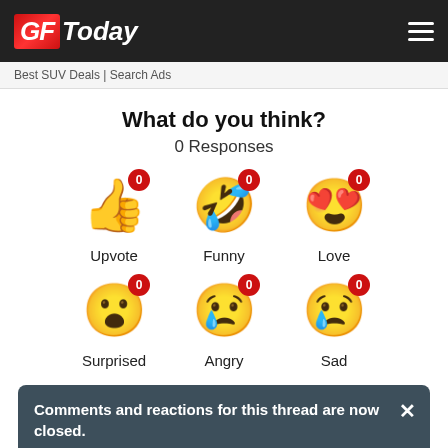GFToday
Best SUV Deals | Search Ads
What do you think?
0 Responses
[Figure (infographic): Six reaction emoji with counts: Upvote (thumbs up) 0, Funny (laughing face) 0, Love (heart eyes) 0, Surprised (shocked face) 0, Angry (crying face) 0, Sad (sad face) 0]
Comments and reactions for this thread are now closed.
Comments  Community  [lock icon]  1  Login